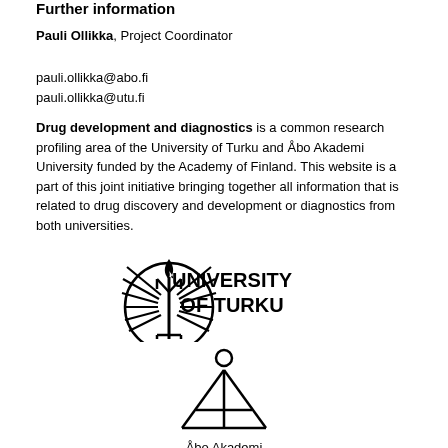Further information
Pauli Ollikka, Project Coordinator
pauli.ollikka@abo.fi
pauli.ollikka@utu.fi
Drug development and diagnostics is a common research profiling area of the University of Turku and Åbo Akademi University funded by the Academy of Finland. This website is a part of this joint initiative bringing together all information that is related to drug discovery and development or diagnostics from both universities.
[Figure (logo): University of Turku logo with trident/torch emblem and text UNIVERSITY OF TURKU]
[Figure (logo): Åbo Akademi logo with stylized A symbol and text Åbo Akademi]